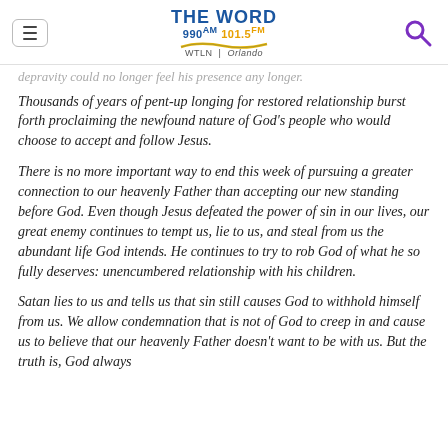THE WORD 990 AM 101.5 FM WTLN | Orlando
...depravity could no longer feel his presence any longer.
Thousands of years of pent-up longing for restored relationship burst forth proclaiming the newfound nature of God’s people who would choose to accept and follow Jesus.
There is no more important way to end this week of pursuing a greater connection to our heavenly Father than accepting our new standing before God. Even though Jesus defeated the power of sin in our lives, our great enemy continues to tempt us, lie to us, and steal from us the abundant life God intends. He continues to try to rob God of what he so fully deserves: unencumbered relationship with his children.
Satan lies to us and tells us that sin still causes God to withhold himself from us. We allow condemnation that is not of God to creep in and cause us to believe that our heavenly Father doesn’t want to be with us. But the truth is, God always